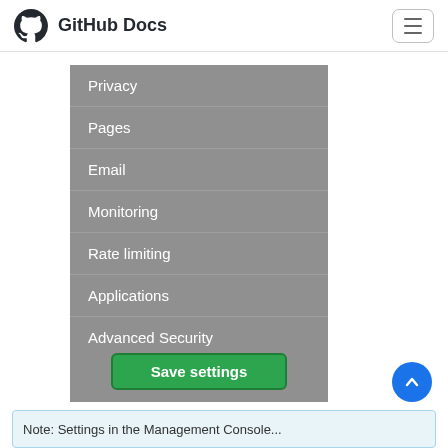GitHub Docs
[Figure (screenshot): GitHub Docs settings sidebar screenshot showing menu items: Privacy, Pages, Email, Monitoring, Rate limiting, Applications, Advanced Security, with a green Save settings button at the bottom]
Note: Settings in the Management Console...